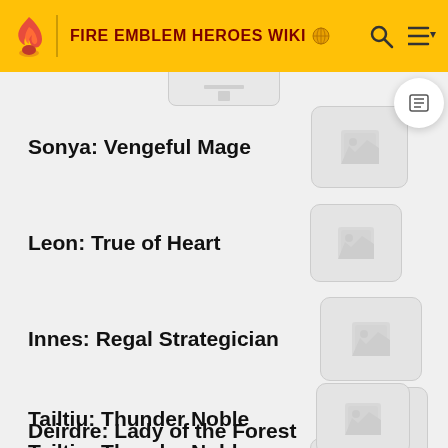FIRE EMBLEM HEROES WIKI
Sonya: Vengeful Mage
Leon: True of Heart
Innes: Regal Strategician
Deirdre: Lady of the Forest
Tailtiu: Thunder Noble